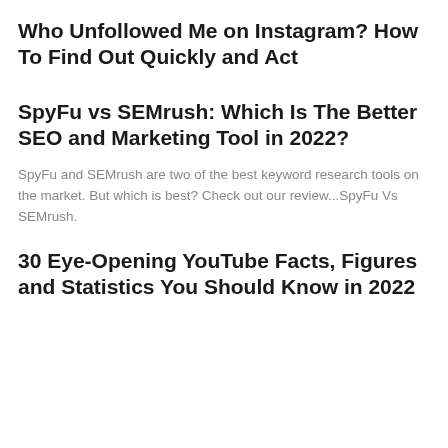Who Unfollowed Me on Instagram? How To Find Out Quickly and Act
SpyFu vs SEMrush: Which Is The Better SEO and Marketing Tool in 2022?
SpyFu and SEMrush are two of the best keyword research tools on the market. But which is best? Check out our review...SpyFu Vs SEMrush.
30 Eye-Opening YouTube Facts, Figures and Statistics You Should Know in 2022